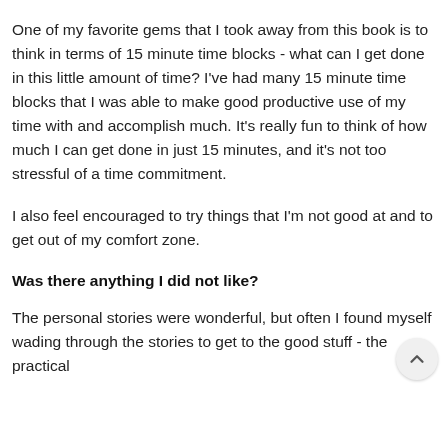One of my favorite gems that I took away from this book is to think in terms of 15 minute time blocks - what can I get done in this little amount of time? I've had many 15 minute time blocks that I was able to make good productive use of my time with and accomplish much. It's really fun to think of how much I can get done in just 15 minutes, and it's not too stressful of a time commitment.
I also feel encouraged to try things that I'm not good at and to get out of my comfort zone.
Was there anything I did not like?
The personal stories were wonderful, but often I found myself wading through the stories to get to the good stuff - the practical